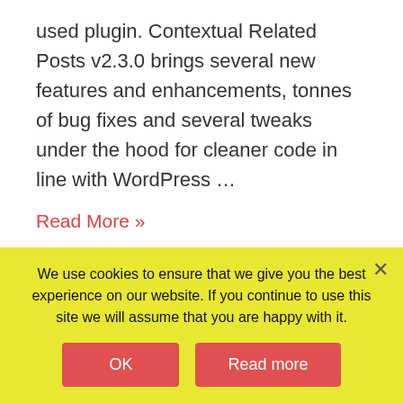used plugin. Contextual Related Posts v2.3.0 brings several new features and enhancements, tonnes of bug fixes and several tweaks under the hood for cleaner code in line with WordPress …
Read More »
Top 10 v2.4.0
September 22, 2016 / By Ajay / 2 Comments /
We use cookies to ensure that we give you the best experience on our website. If you continue to use this site we will assume that you are happy with it.